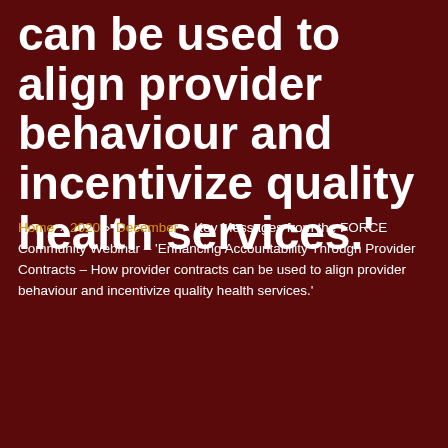can be used to align provider behaviour and incentivize quality health services.'
Home › 2020 › December › Key Messages from the FORCE Community Webinar – 'Enhancing Accountability Through Provider Contracts – How provider contracts can be used to align provider behaviour and incentivize quality health services.'